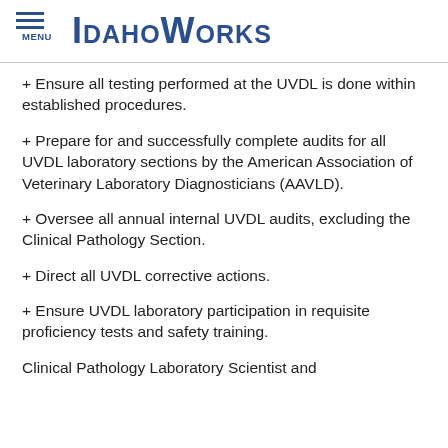MENU | IDAHOWORKS
+ Ensure all testing performed at the UVDL is done within established procedures.
+ Prepare for and successfully complete audits for all UVDL laboratory sections by the American Association of Veterinary Laboratory Diagnosticians (AAVLD).
+ Oversee all annual internal UVDL audits, excluding the Clinical Pathology Section.
+ Direct all UVDL corrective actions.
+ Ensure UVDL laboratory participation in requisite proficiency tests and safety training.
Clinical Pathology Laboratory Scientist and